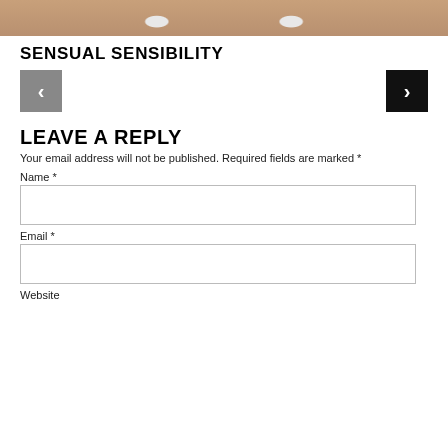[Figure (photo): Cropped photo showing a person's eyes with dramatic makeup and blonde/reddish hair]
SENSUAL SENSIBILITY
[Figure (other): Navigation buttons: left arrow (grey) and right arrow (black)]
LEAVE A REPLY
Your email address will not be published. Required fields are marked *
Name *
Email *
Website